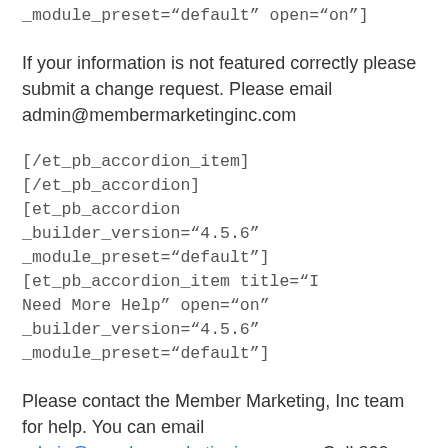_module_preset="default" open="on"]
If your information is not featured correctly please submit a change request. Please email admin@membermarketinginc.com
[/et_pb_accordion_item][/et_pb_accordion]
[et_pb_accordion _builder_version="4.5.6" _module_preset="default"][et_pb_accordion_item title="I Need More Help" open="on" _builder_version="4.5.6" _module_preset="default"]
Please contact the Member Marketing, Inc team for help. You can email admin@membermarketinginc.com or Call 800-416-1905
[/et_pb_accordion_item][/et_pb_accordion]